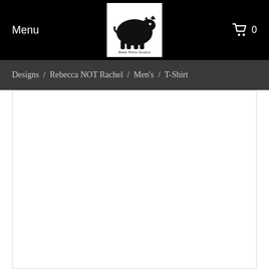Menu
[Figure (logo): Black and white rhino logo with text 'Black Rhino Studios' underneath]
0
Designs / Rebecca NOT Rachel / Men's / T-Shirt
[Figure (photo): White/blank product image area for a Men's T-Shirt in the Rebecca NOT Rachel design]